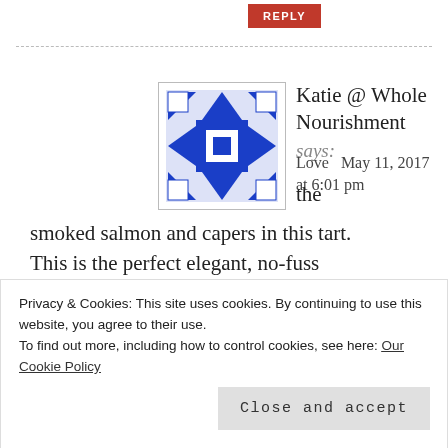REPLY
[Figure (illustration): Blue and white quilt/geometric pattern avatar image]
Katie @ Whole Nourishment says:
Love   May 11, 2017 at 6:01 pm   the smoked salmon and capers in this tart. This is the perfect elegant, no-fuss Mother's Day dish. Well done Kellie. Now to find all-butter puff pastry here
Privacy & Cookies: This site uses cookies. By continuing to use this website, you agree to their use.
To find out more, including how to control cookies, see here: Our Cookie Policy
Close and accept